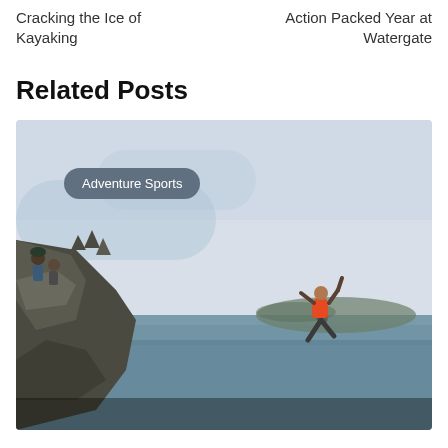Cracking the Ice of Kayaking
Action Packed Year at Watergate
Related Posts
[Figure (photo): Person in an orange vest jumping off rocky coastal cliffs into the sea, with observers watching from the rocks. The scene is set against a grey, overcast sky. A badge overlay reads 'Adventure Sports'.]